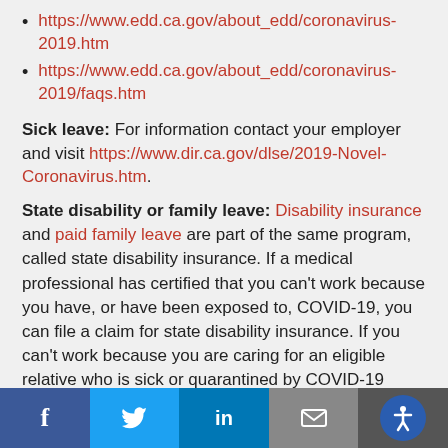https://www.edd.ca.gov/about_edd/coronavirus-2019.htm
https://www.edd.ca.gov/about_edd/coronavirus-2019/faqs.htm
Sick leave: For information contact your employer and visit https://www.dir.ca.gov/dlse/2019-Novel-Coronavirus.htm.
State disability or family leave: Disability insurance and paid family leave are part of the same program, called state disability insurance. If a medical professional has certified that you can't work because you have, or have been exposed to, COVID-19, you can file a claim for state disability insurance. If you can't work because you are caring for an eligible relative who is sick or quarantined by COVID-19
Social share bar: Facebook, Twitter, LinkedIn, Email, Accessibility